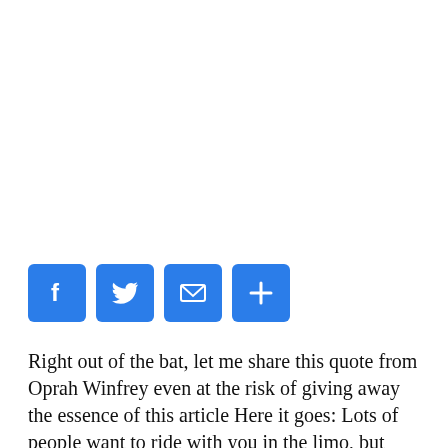[Figure (other): Four social sharing buttons: Facebook (f), Twitter (bird), Email (envelope), Share (plus sign), all with blue rounded square backgrounds]
Right out of the bat, let me share this quote from Oprah Winfrey even at the risk of giving away the essence of this article Here it goes: Lots of people want to ride with you in the limo, but what you want is someone who will take the bus with you when the limo...